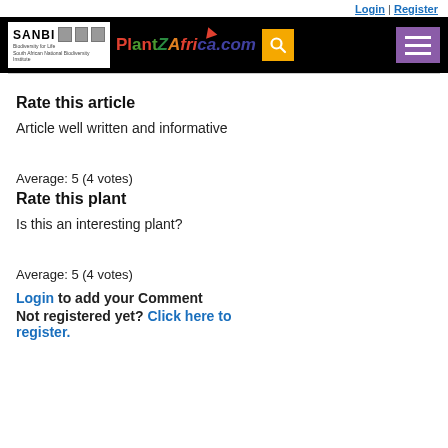Login | Register
[Figure (screenshot): PlantZAfrica.com website header with SANBI logo, PlantZAfrica colorful logo, search icon, and menu button on black background]
Rate this article
Article well written and informative
Average: 5 (4 votes)
Rate this plant
Is this an interesting plant?
Average: 5 (4 votes)
Login to add your Comment
Not registered yet? Click here to register.